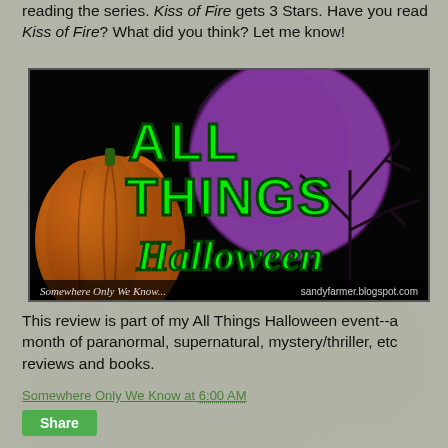reading the series. Kiss of Fire gets 3 Stars. Have you read Kiss of Fire? What did you think? Let me know!
[Figure (illustration): All Things Halloween banner image with a pumpkin on the left, a large purple moon, a bare tree silhouette, and green text reading ALL THINGS Halloween. Bottom text: Somewhere Only We Know... and sandyfarmer.blogspot.com]
This review is part of my All Things Halloween event--a month of paranormal, supernatural, mystery/thriller, etc reviews and books.
Somewhere Only We Know at 6:00 AM
Share